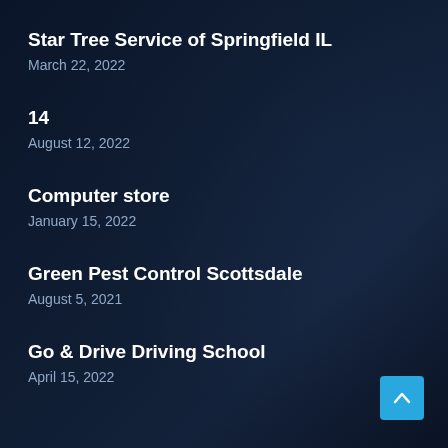Star Tree Service of Springfield IL
March 22, 2022
14
August 12, 2022
Computer store
January 15, 2022
Green Pest Control Scottsdale
August 5, 2021
Go & Drive Driving School
April 15, 2022